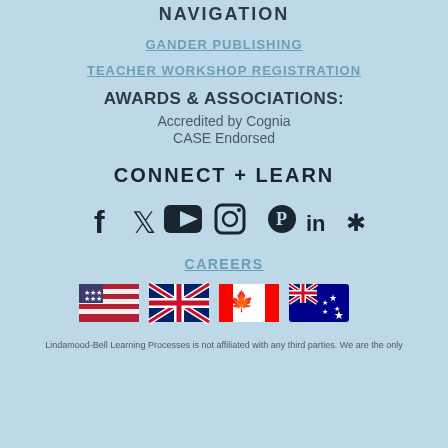NAVIGATION
GANDER PUBLISHING
TEACHER WORKSHOP REGISTRATION
AWARDS & ASSOCIATIONS:
Accredited by Cognia
CASE Endorsed
CONNECT + LEARN
[Figure (infographic): Social media icons row: Facebook, Twitter, YouTube, Instagram, Pinterest, LinkedIn, Yelp]
CAREERS
[Figure (infographic): Country flag icons: USA, UK, Canada, Australia]
Lindamood-Bell Learning Processes is not affiliated with any third parties. We are the only